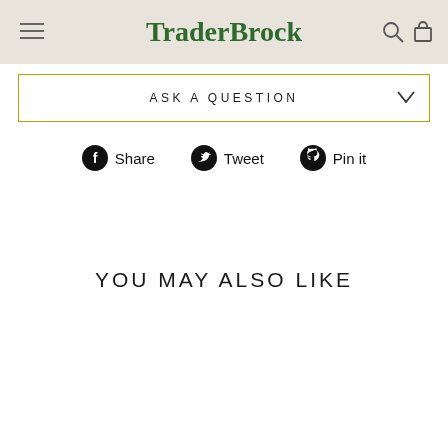TraderBrock
ASK A QUESTION
Share  Tweet  Pin it
YOU MAY ALSO LIKE